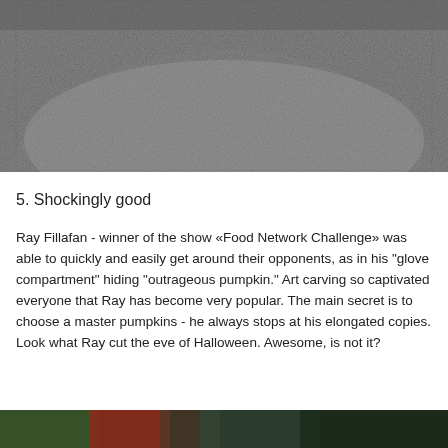[Figure (photo): Grayscale photo of a gravelly or stony ground surface, showing a mound or hill shape of small dark stones/gravel filling the upper portion of the image.]
5. Shockingly good
Ray Fillafan - winner of the show «Food Network Challenge» was able to quickly and easily get around their opponents, as in his "glove compartment" hiding "outrageous pumpkin." Art carving so captivated everyone that Ray has become very popular. The main secret is to choose a master pumpkins - he always stops at his elongated copies. Look what Ray cut the eve of Halloween. Awesome, is not it?
[Figure (photo): Partial view of a colorful image at the bottom of the page, partially cut off.]